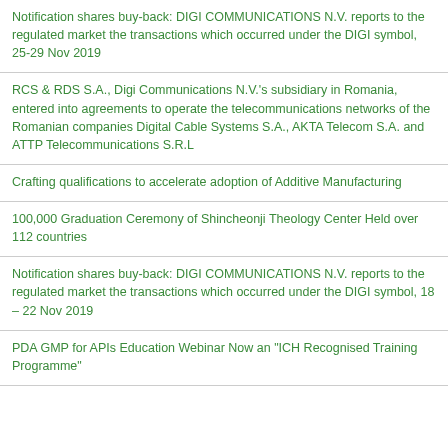Notification shares buy-back: DIGI COMMUNICATIONS N.V. reports to the regulated market the transactions which occurred under the DIGI symbol, 25-29 Nov 2019
RCS & RDS S.A., Digi Communications N.V.'s subsidiary in Romania, entered into agreements to operate the telecommunications networks of the Romanian companies Digital Cable Systems S.A., AKTA Telecom S.A. and ATTP Telecommunications S.R.L
Crafting qualifications to accelerate adoption of Additive Manufacturing
100,000 Graduation Ceremony of Shincheonji Theology Center Held over 112 countries
Notification shares buy-back: DIGI COMMUNICATIONS N.V. reports to the regulated market the transactions which occurred under the DIGI symbol, 18 – 22 Nov 2019
PDA GMP for APIs Education Webinar Now an "ICH Recognised Training Programme"